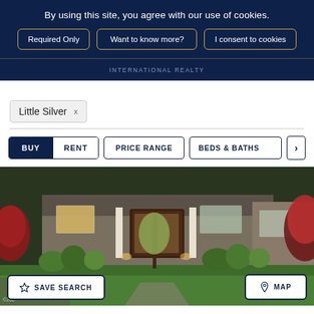By using this site, you agree with our use of cookies.
Required Only | Want to know more? | I consent to cookies
INTERNATIONAL REALTY
Little Silver ×
BUY  RENT  PRICE RANGE  BEDS & BATHS  >
[Figure (photo): Exterior photo of a luxury residential home with lush landscaping, ornamental trees, shrubs, and a green lawn in the foreground. The house has a dark wood front door with sidelights and columns.]
SAVE SEARCH
MAP